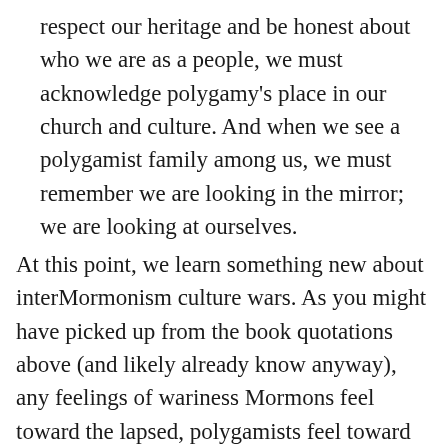respect our heritage and be honest about who we are as a people, we must acknowledge polygamy's place in our church and culture. And when we see a polygamist family among us, we must remember we are looking in the mirror; we are looking at ourselves.
At this point, we learn something new about interMormonism culture wars. As you might have picked up from the book quotations above (and likely already know anyway), any feelings of wariness Mormons feel toward the lapsed, polygamists feel toward us—for we, from their perspective, are also lapsed.